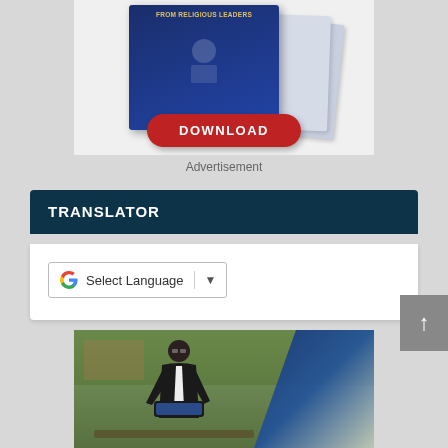[Figure (illustration): Advertisement banner showing stacked books/reports with a red DOWNLOAD button on top]
Advertisement
TRANSLATOR
[Figure (screenshot): Google Translate language selector widget showing 'Select Language' with dropdown arrow]
[Figure (photo): Photo of a man in formal attire sitting on a bench outdoors, with trees and buildings in background, blue diagonal overlay on right side]